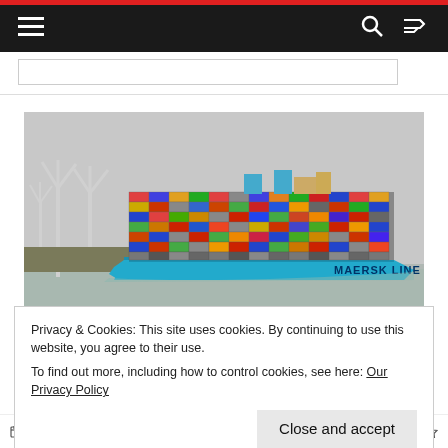Navigation bar with hamburger menu, search icon, and shuffle icon
[Figure (photo): A large Maersk Line container ship loaded with colorful shipping containers, sailing with wind turbines visible on the left shore in the background. The ship hull is bright blue with 'MAERSK LINE' written on the side.]
Privacy & Cookies: This site uses cookies. By continuing to use this website, you agree to their use.
To find out more, including how to control cookies, see here: Our Privacy Policy
Close and accept
May 16, 2018   Anton Bendarzsevszkij   3704 Views